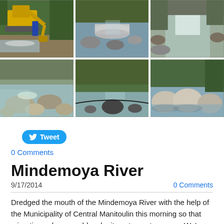[Figure (photo): Six photos in a 3x2 grid showing river dredging and restoration work: excavator at stream, pipes in rocky streambed, shallow stream with rocks, and various views of the Mindemoya River restoration project]
Tweet
0 Comments
Mindemoya River
9/17/2014
0 Comments
Dredged the mouth of the Mindemoya River with the help of the Municipality of Central Manitoulin this morning so that migrating salmon could make it upstream to spawn.  We've heard lots of positive comments this year about